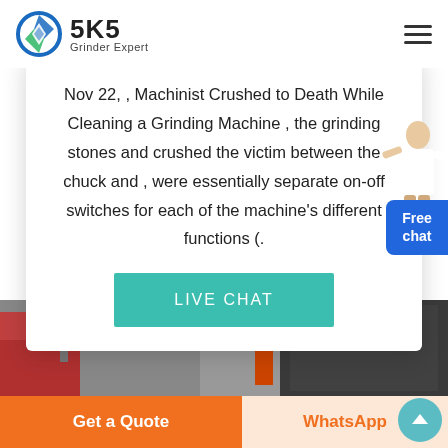SKS Grinder Expert
Nov 22, , Machinist Crushed to Death While Cleaning a Grinding Machine , the grinding stones and crushed the victim between the chuck and , were essentially separate on-off switches for each of the machine's different functions (.
[Figure (screenshot): LIVE CHAT button in teal/green color]
[Figure (photo): Industrial facility interior with machinery and red/metal equipment]
[Figure (infographic): Free chat bubble widget on right side]
Get a Quote | WhatsApp